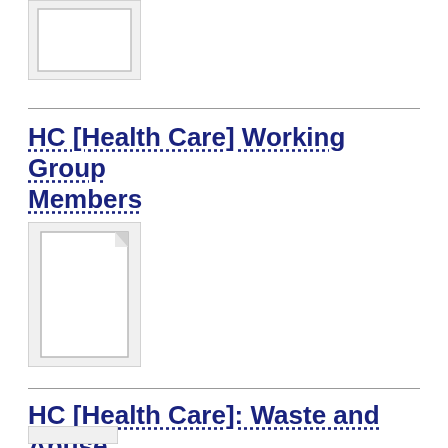[Figure (illustration): Document/file icon placeholder - partial view at top of page]
HC [Health Care] Working Group Members
[Figure (illustration): Document/file icon placeholder]
HC [Health Care]: Waste and Abuse
[Figure (illustration): Document/file icon placeholder - partial view at bottom of page]